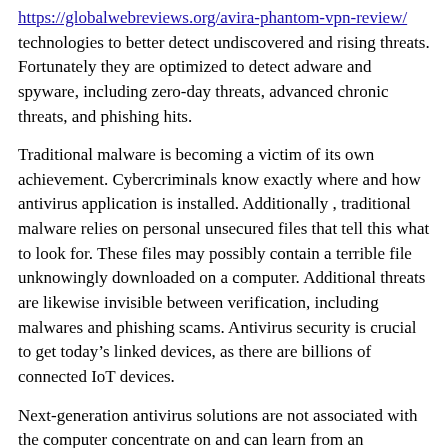https://globalwebreviews.org/avira-phantom-vpn-review/ technologies to better detect undiscovered and rising threats. Fortunately they are optimized to detect adware and spyware, including zero-day threats, advanced chronic threats, and phishing hits.
Traditional malware is becoming a victim of its own achievement. Cybercriminals know exactly where and how antivirus application is installed. Additionally , traditional malware relies on personal unsecured files that tell this what to look for. These files may possibly contain a terrible file unknowingly downloaded on a computer. Additional threats are likewise invisible between verification, including malwares and phishing scams. Antivirus security is crucial to get today’s linked devices, as there are billions of connected IoT devices.
Next-generation antivirus solutions are not associated with the computer concentrate on and can learn from an encounter as it occurs. Traditional protective software relies on files and code placement. Next-gen ant-virus solutions apply machine learning and man-made intelligence to find out the modus operandi of threats and how to protect them. They can even identify adware and spyware by studying the behavior of users plus the behavior of applications and network activity. In short, next-generation antivirus solutions are positive. The danger landscape is constantly